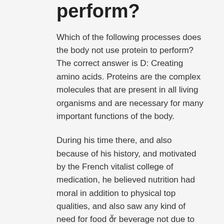perform?
Which of the following processes does the body not use protein to perform? The correct answer is D: Creating amino acids. Proteins are the complex molecules that are present in all living organisms and are necessary for many important functions of the body.
During his time there, and also because of his history, and motivated by the French vitalist college of medication, he believed nutrition had moral in addition to physical top qualities, and also saw any kind of need for food or beverage not due to need to be depravation. As a result, he viewed